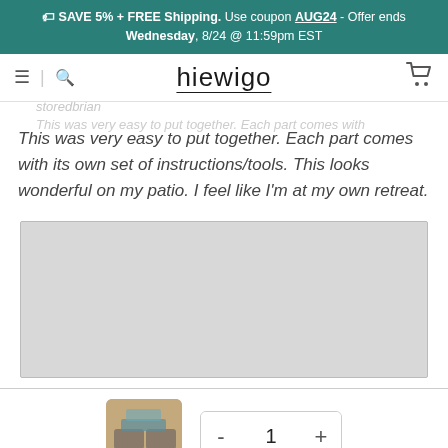🏷 SAVE 5% + FREE Shipping. Use coupon AUG24 - Offer ends Wednesday, 8/24 @ 11:59pm EST
[Figure (screenshot): Hiewigo e-commerce site navigation bar with hamburger menu, search icon, hiewigo logo, and shopping cart icon]
This was very easy to put together. Each part comes with its own set of instructions/tools. This looks wonderful on my patio. I feel like I'm at my own retreat.
[Figure (photo): Grey placeholder image area representing a product image]
[Figure (photo): Small product thumbnail showing outdoor patio furniture set]
- 1 +
Add to Cart